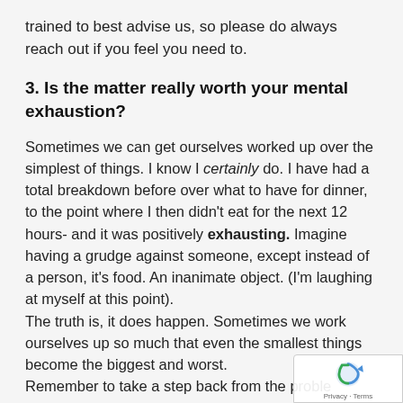trained to best advise us, so please do always reach out if you feel you need to.
3. Is the matter really worth your mental exhaustion?
Sometimes we can get ourselves worked up over the simplest of things. I know I certainly do. I have had a total breakdown before over what to have for dinner, to the point where I then didn't eat for the next 12 hours- and it was positively exhausting. Imagine having a grudge against someone, except instead of a person, it's food. An inanimate object. (I'm laughing at myself at this point).
The truth is, it does happen. Sometimes we work ourselves up so much that even the smallest things become the biggest and worst.
Remember to take a step back from the proble
Don't ignore it and abandon it, but just take a